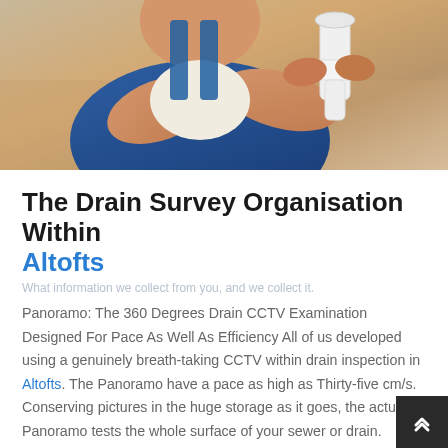[Figure (photo): A plumber or technician in blue overalls working with white PVC pipes and plumbing fittings, close-up shot]
The Drain Survey Organisation Within Altofts
Panoramo: The 360 Degrees Drain CCTV Examination Designed For Pace As Well As Efficiency All of us developed using a genuinely breath-taking CCTV within drain inspection in Altofts. The Panoramo have a pace as high as Thirty-five cm/s. Conserving pictures in the huge storage as it goes, the actual Panoramo tests the whole surface of your sewer or drain.